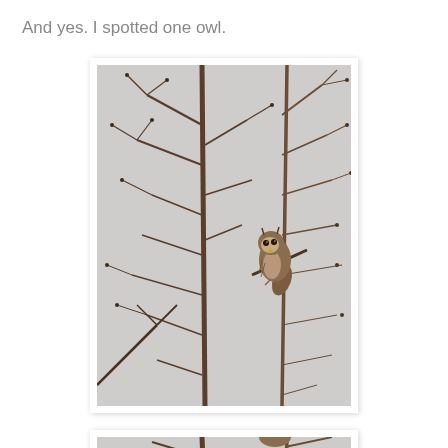And yes. I spotted one owl.
[Figure (photo): A small owl perched on a bare tree branch among bare winter twigs with small buds, against a light gray overcast sky. The owl is brown and fluffy, sitting near the top right of the image.]
[Figure (photo): Partial view of a second photo showing similar bare tree branches against gray sky, cropped at bottom of page.]